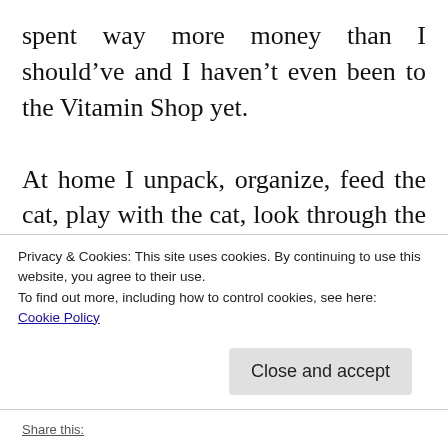spent way more money than I should've and I haven't even been to the Vitamin Shop yet.

At home I unpack, organize, feed the cat, play with the cat, look through the mail, remember that I forgot to pay the credit card bill, notice I need to take out the trash, and so I do it because it stinks. Another hour has gone by and I haven't written a word. My brain is fried and I have to catch up on Game of Thrones, so I decide I'm too tired to produce anything
Privacy & Cookies: This site uses cookies. By continuing to use this website, you agree to their use.
To find out more, including how to control cookies, see here:
Cookie Policy
Close and accept
Share this: